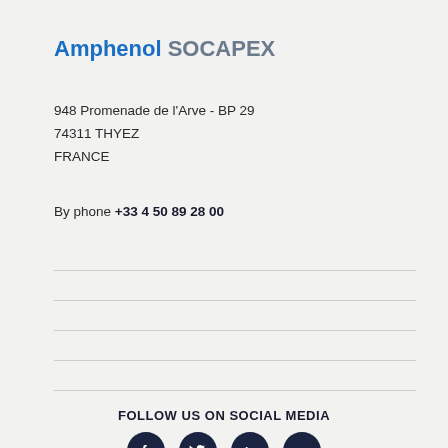Amphenol SOCAPEX
948 Promenade de l'Arve - BP 29
74311 THYEZ
FRANCE
By phone +33 4 50 89 28 00
FOLLOW US ON SOCIAL MEDIA
[Figure (illustration): Social media icons for Facebook, Twitter, LinkedIn, and YouTube on dark circular backgrounds]